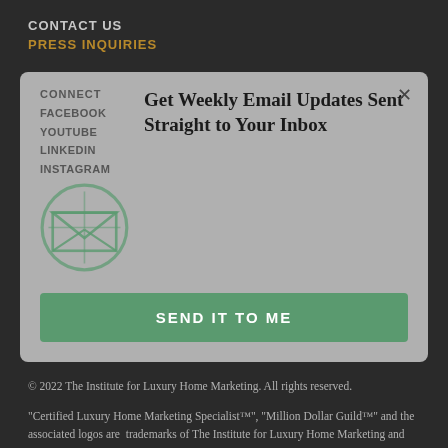CONTACT US
PRESS INQUIRIES
[Figure (screenshot): Modal popup with email subscription call-to-action. Contains a circular logo with envelope/leaf design, headline 'Get Weekly Email Updates Sent Straight to Your Inbox', and a green 'SEND IT TO ME' button. Background shows CONNECT section with FACEBOOK, YOUTUBE, LINKEDIN, INSTAGRAM links.]
© 2022 The Institute for Luxury Home Marketing. All rights reserved.
"Certified Luxury Home Marketing Specialist™", "Million Dollar Guild™" and the associated logos are trademarks of The Institute for Luxury Home Marketing and may not be used without permission.
Site Map
Terms & Conditions
Privacy